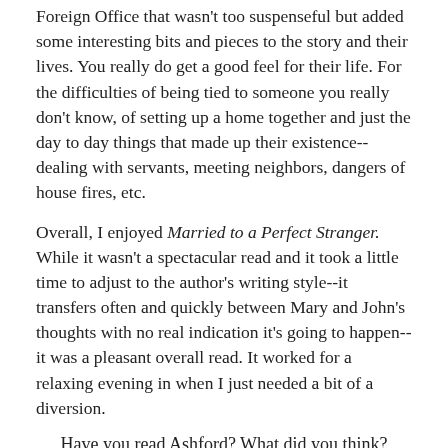Foreign Office that wasn't too suspenseful but added some interesting bits and pieces to the story and their lives. You really do get a good feel for their life. For the difficulties of being tied to someone you really don't know, of setting up a home together and just the day to day things that made up their existence-- dealing with servants, meeting neighbors, dangers of house fires, etc.
Overall, I enjoyed Married to a Perfect Stranger. While it wasn't a spectacular read and it took a little time to adjust to the author's writing style--it transfers often and quickly between Mary and John's thoughts with no real indication it's going to happen-- it was a pleasant overall read. It worked for a relaxing evening in when I just needed a bit of a diversion.
Have you read Ashford? What did you think?
Any suggestions for another to try from her?
Do you have a favorite arranged marriage story to rec?
*●*●*●*●*●*●*●*
[Figure (photo): Three partially visible images in a row at the bottom of the page, including one with 'New To You' text overlay]